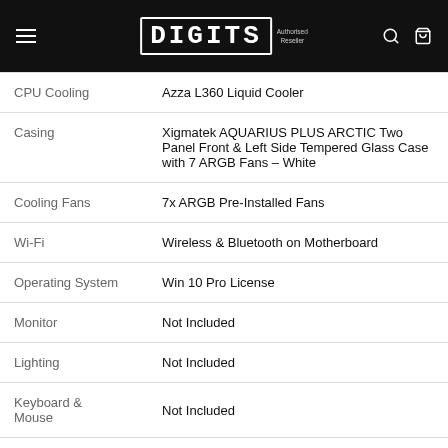DIGITS Apple Authorised Reseller
| Spec | Value |
| --- | --- |
| CPU Cooling | Azza L360 Liquid Cooler |
| Casing | Xigmatek AQUARIUS PLUS ARCTIC Two Panel Front & Left Side Tempered Glass Case with 7 ARGB Fans – White |
| Cooling Fans | 7x ARGB Pre-Installed Fans |
| Wi-Fi | Wireless & Bluetooth on Motherboard |
| Operating System | Win 10 Pro License |
| Monitor | Not Included |
| Lighting | Not Included |
| Keyboard & Mouse | Not Included |
| Additional Accessories | Not Included |